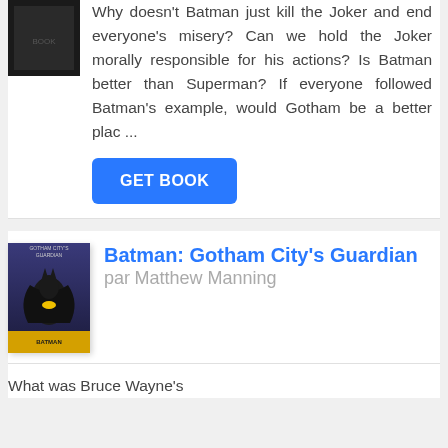[Figure (illustration): Dark book cover thumbnail at top of first card]
Why doesn't Batman just kill the Joker and end everyone's misery? Can we hold the Joker morally responsible for his actions? Is Batman better than Superman? If everyone followed Batman's example, would Gotham be a better plac ...
GET BOOK
[Figure (illustration): Batman: Gotham City's Guardian book cover showing Batman in costume on blue/dark background]
Batman: Gotham City's Guardian par Matthew Manning
What was Bruce Wayne's